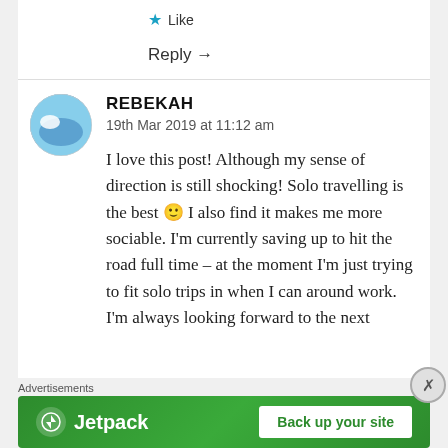★ Like
Reply →
REBEKAH
19th Mar 2019 at 11:12 am
I love this post! Although my sense of direction is still shocking! Solo travelling is the best 🙂 I also find it makes me more sociable. I'm currently saving up to hit the road full time – at the moment I'm just trying to fit solo trips in when I can around work. I'm always looking forward to the next
Advertisements
[Figure (logo): Jetpack advertisement banner with green background, Jetpack logo on left and 'Back up your site' button on right]